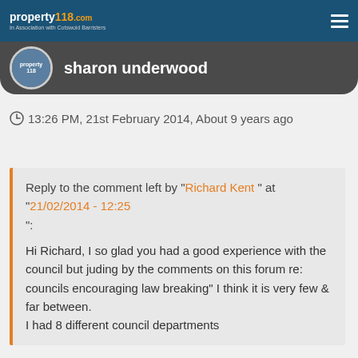property118.com — In Association with Cotswold Barristers
sharon underwood
13:26 PM, 21st February 2014, About 9 years ago
Reply to the comment left by "Richard Kent " at "21/02/2014 - 12:25
Hi Richard, I so glad you had a good experience with the council but juding by the comments on this forum re: councils encouraging law breaking" I think it is very few & far between.
I had 8 different council departments